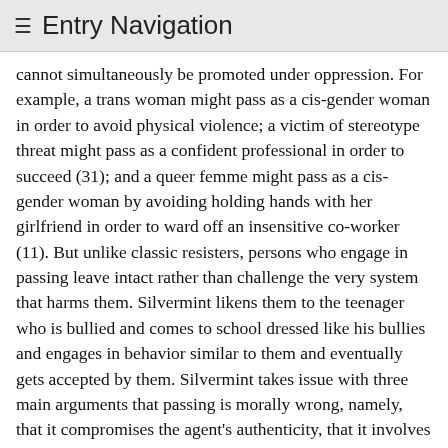≡ Entry Navigation
cannot simultaneously be promoted under oppression. For example, a trans woman might pass as a cis-gender woman in order to avoid physical violence; a victim of stereotype threat might pass as a confident professional in order to succeed (31); and a queer femme might pass as a cis-gender woman by avoiding holding hands with her girlfriend in order to ward off an insensitive co-worker (11). But unlike classic resisters, persons who engage in passing leave intact rather than challenge the very system that harms them. Silvermint likens them to the teenager who is bullied and comes to school dressed like his bullies and engages in behavior similar to them and eventually gets accepted by them. Silvermint takes issue with three main arguments that passing is morally wrong, namely, that it compromises the agent's authenticity, that it involves deception, and that it harms fellow victims by reinforcing stereotypes. He instead defends the view that passing is a permissible form of self-regarding complicity on the grounds that persons who engage in passing are not responsible for being victims of oppression and are